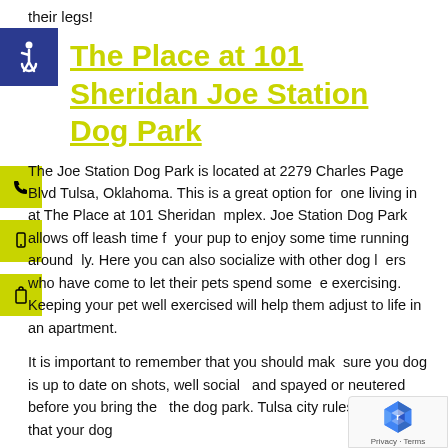their legs!
The Place at 101 Sheridan Joe Station Dog Park
The Joe Station Dog Park is located at 2279 Charles Page Blvd Tulsa, Oklahoma. This is a great option for one living in at The Place at 101 Sheridan mplex. Joe Station Dog Park allows off leash time for your pup to enjoy some time running around ly. Here you can also socialize with other dog lovers who have come to let their pets spend some e exercising. Keeping your pet well exercised will help them adjust to life in an apartment.
It is important to remember that you should make sure you dog is up to date on shots, well social and spayed or neutered before you bring the the dog park. Tulsa city rules also say that your dog